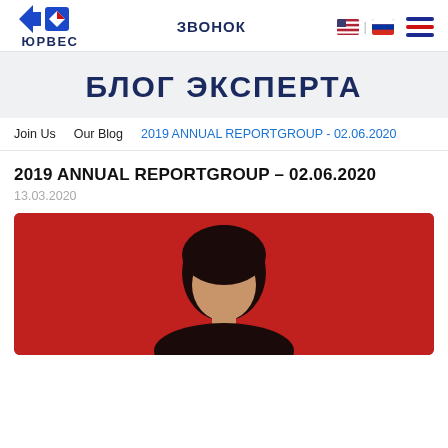ЮРВЕС | ЗВОНОК
БЛОГ ЭКСПЕРТА
Join Us   Our Blog   2019 ANNUAL REPORTGROUP - 02.06.2020
2019 ANNUAL REPORTGROUP - 02.06.2020
13.03.2020
[Figure (photo): A woman with dark hair on a red background, partially visible from shoulders up, bottom portion of image shown.]